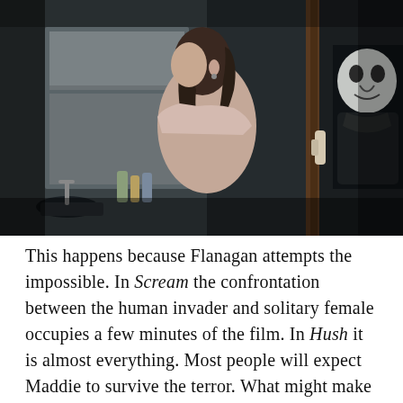[Figure (photo): A dark, moody indoor scene showing a woman in profile view (left side) with dark hair tied back, wearing a light sleeveless top, standing at what appears to be a kitchen counter. In the background on the right, through a doorway or window reflection, a masked figure (the antagonist) can be seen looking in. The overall color palette is dark teal/grey.]
This happens because Flanagan attempts the impossible. In Scream the confrontation between the human invader and solitary female occupies a few minutes of the film. In Hush it is almost everything. Most people will expect Maddie to survive the terror. What might make them anxious is the doubt that Flanagan will be able to stretch